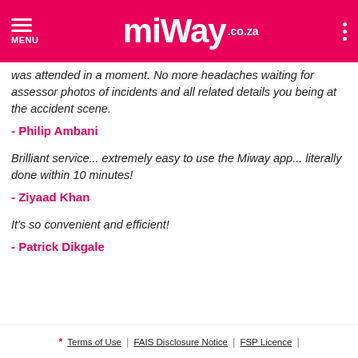MiWay .co.za — MENU
was attended in a moment. No more headaches waiting for assessor photos of incidents and all related details you being at the accident scene.
- Philip Ambani
Brilliant service... extremely easy to use the Miway app... literally done within 10 minutes!
- Ziyaad Khan
It's so convenient and efficient!
- Patrick Dikgale
* Terms of Use | FAIS Disclosure Notice | FSP Licence |